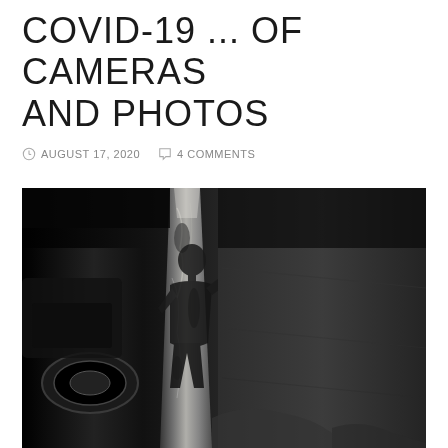COVID-19 ... OF CAMERAS AND PHOTOS
AUGUST 17, 2020   4 COMMENTS
[Figure (photo): Black and white photograph of a person's shadow cast on the rough textured trunk of a large tree. The shadow of a person holding a camera is prominent in the center. On the left, a car wheel is partially visible. The background shows a dark sidewalk/pavement area. The image has high contrast black and white tones creating a dramatic, moody effect.]